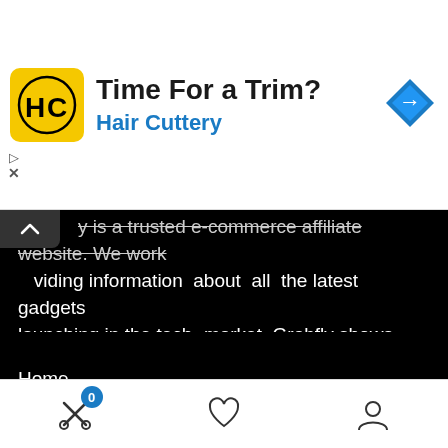[Figure (infographic): Hair Cuttery advertisement banner with yellow logo, 'Time For a Trim?' headline, 'Hair Cuttery' subtitle in blue, and a blue navigation arrow icon on the right]
y is a trusted e-commerce affiliate website. We work providing information about all the latest gadgets launching in the tech- market. Grabfly shows reviews about various products and updates which are trending in the market these days.
General
Home
Privacy Policy
Terms and Use
About Us
[Figure (infographic): Bottom navigation bar with scissors/cart icon with badge '0', heart/wishlist icon, and user/account icon]